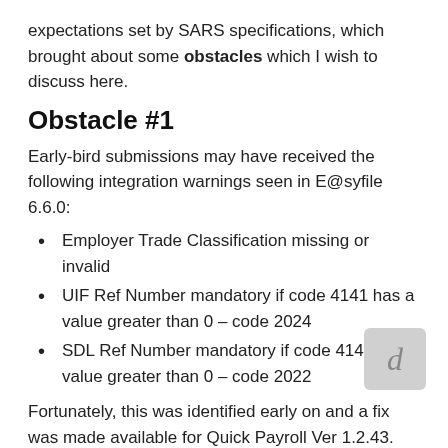expectations set by SARS specifications, which brought about some obstacles which I wish to discuss here.
Obstacle #1
Early-bird submissions may have received the following integration warnings seen in E@syfile 6.6.0:
Employer Trade Classification missing or invalid
UIF Ref Number mandatory if code 4141 has a value greater than 0 – code 2024
SDL Ref Number mandatory if code 4142 has a value greater than 0 – code 2022
Fortunately, this was identified early on and a fix was made available for Quick Payroll Ver 1.2.43.
(Refer to Payroll newsflash 10 September 2014)
Obstacle #2
SEZ Codes (Special Economic Zone) is a disclosed area in